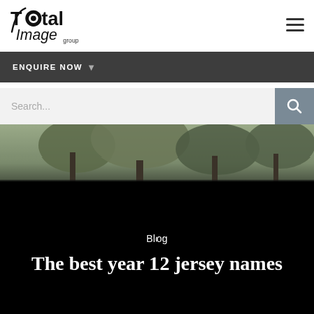[Figure (logo): Total Image Group logo — stylized text with a circular camera-lens icon replacing the 'o' in Total]
[Figure (infographic): Hamburger menu icon — three horizontal lines in top right corner]
ENQUIRE NOW
Search...
[Figure (photo): Outdoor scene with trees and foliage in muted greens and greys, fading to black at the bottom]
Blog
The best year 12 jersey names